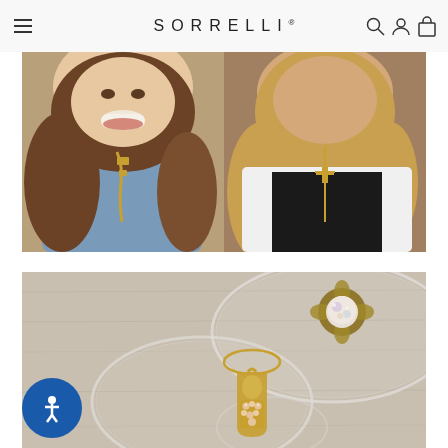SORRELLI®
[Figure (photo): Two women smiling and posing together, both wearing gold Sorrelli necklaces. The woman on the left has brown hair and wears a blue shirt with a chunky gold chain necklace. The woman on the right has blonde hair and wears a black top with a white cardigan and a long gold chain necklace with cross pendant.]
[Figure (photo): Close-up of Sorrelli jewelry pieces displayed on clear glass plates on a wooden surface. A decorative brooch/ring with a large opalescent stone in a gold filigree setting is visible at top right, and a gold pendant earring or charm with pink/champagne crystals in a geometric/arch shape is visible at bottom center.]